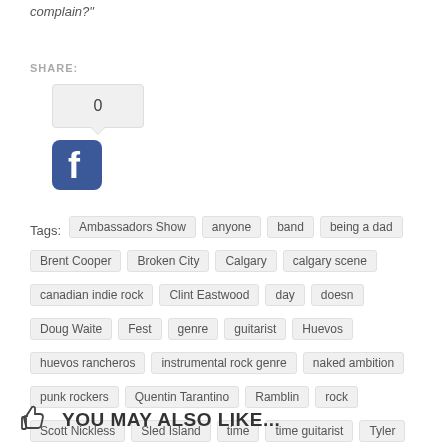complain?"
SHARE:
[Figure (other): Facebook share button with count 0]
Tags: Ambassadors Show  anyone  band  being a dad  Brent Cooper  Broken City  Calgary  calgary scene  canadian indie rock  Clint Eastwood  day  doesn  Doug Waite  Fest  genre  guitarist  Huevos  huevos rancheros  instrumental rock genre  naked ambition  punk rockers  Quentin Tarantino  Ramblin  rock  Scott Nickless  Sled Island  time  time guitarist  Tyler  Vern
YOU MAY ALSO LIKE...